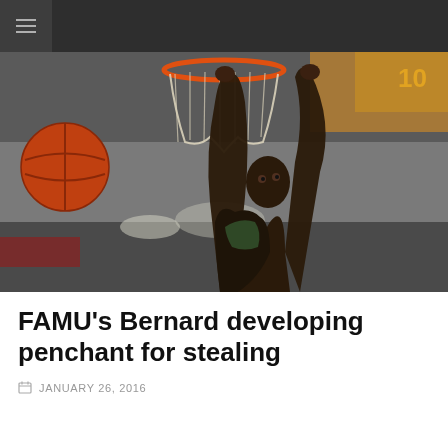≡
[Figure (photo): A basketball player dunking or hanging from the hoop/net in an indoor gymnasium, with a basketball visible to the left and arena lighting in the background.]
FAMU's Bernard developing penchant for stealing
JANUARY 26, 2016